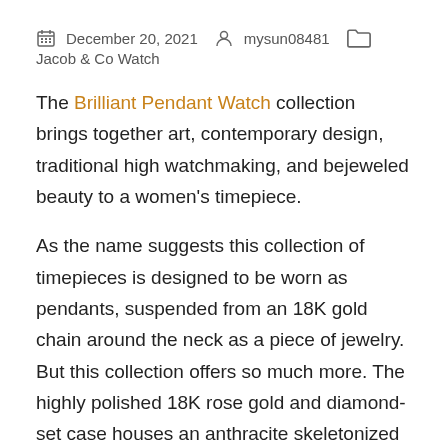December 20, 2021   mysun08481   Jacob & Co Watch
The Brilliant Pendant Watch collection brings together art, contemporary design, traditional high watchmaking, and bejeweled beauty to a women's timepiece.
As the name suggests this collection of timepieces is designed to be worn as pendants, suspended from an 18K gold chain around the neck as a piece of jewelry. But this collection offers so much more. The highly polished 18K rose gold and diamond-set case houses an anthracite skeletonized movement,